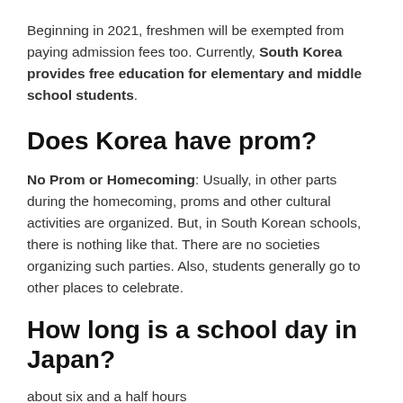Beginning in 2021, freshmen will be exempted from paying admission fees too. Currently, South Korea provides free education for elementary and middle school students.
Does Korea have prom?
No Prom or Homecoming: Usually, in other parts during the homecoming, proms and other cultural activities are organized. But, in South Korean schools, there is nothing like that. There are no societies organizing such parties. Also, students generally go to other places to celebrate.
How long is a school day in Japan?
about six and a half hours